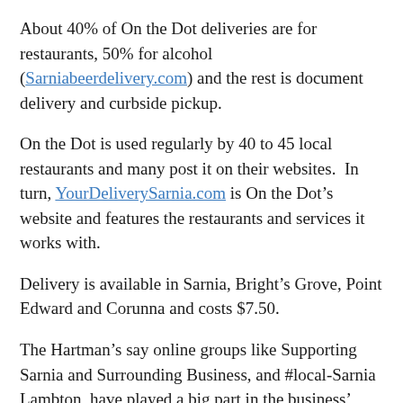About 40% of On the Dot deliveries are for restaurants, 50% for alcohol (Sarniabeerdelivery.com) and the rest is document delivery and curbside pickup.
On the Dot is used regularly by 40 to 45 local restaurants and many post it on their websites.  In turn, YourDeliverySarnia.com is On the Dot’s website and features the restaurants and services it works with.
Delivery is available in Sarnia, Bright’s Grove, Point Edward and Corunna and costs $7.50.
The Hartman’s say online groups like Supporting Sarnia and Surrounding Business, and #local-Sarnia Lambton, have played a big part in the business’ growth.
“It was all so sudden,” said Molly Hartman.  “No one really knew what to do when the pandemic began. We just said, ‘If we can